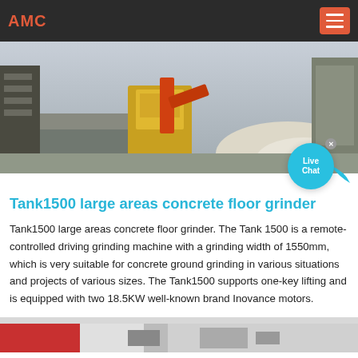AMC
[Figure (photo): Photo of a large concrete floor grinder machine in operation, yellow and orange equipment visible with concrete rubble and dust.]
Tank1500 large areas concrete floor grinder
Tank1500 large areas concrete floor grinder. The Tank 1500 is a remote-controlled driving grinding machine with a grinding width of 1550mm, which is very suitable for concrete ground grinding in various situations and projects of various sizes. The Tank1500 supports one-key lifting and is equipped with two 18.5KW well-known brand Inovance motors.
[Figure (photo): Bottom partial photo showing more of the concrete grinding equipment, partially visible.]